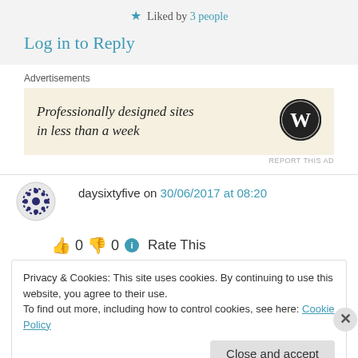★ Liked by 3 people
Log in to Reply
Advertisements
[Figure (other): WordPress advertisement: 'Professionally designed sites in less than a week' with WordPress logo]
daysixtyfive on 30/06/2017 at 08:20
👍 0 👎 0 ℹ Rate This
Privacy & Cookies: This site uses cookies. By continuing to use this website, you agree to their use.
To find out more, including how to control cookies, see here: Cookie Policy
Close and accept